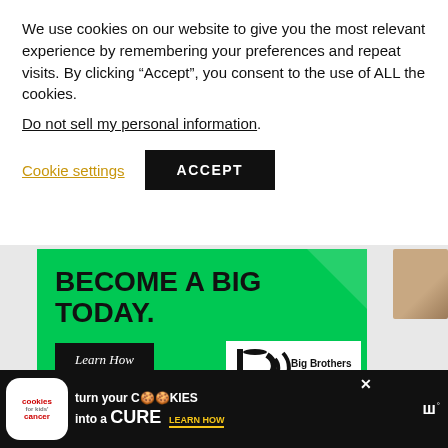We use cookies on our website to give you the most relevant experience by remembering your preferences and repeat visits. By clicking “Accept”, you consent to the use of ALL the cookies.
Do not sell my personal information.
Cookie settings   ACCEPT
[Figure (illustration): Big Brothers Big Sisters advertisement banner: green background with bold text 'BECOME A BIG TODAY.' and a 'Learn How' button, with Big Brothers Big Sisters of America logo on white background, and a partial photo of a person in the top right corner.]
[Figure (illustration): Bottom advertisement bar with black background: 'cookies for kids cancer' white rounded logo on the left, text 'turn your COOKIES into a CURE LEARN HOW' in white/yellow, and a Tunein radio logo on the right.]